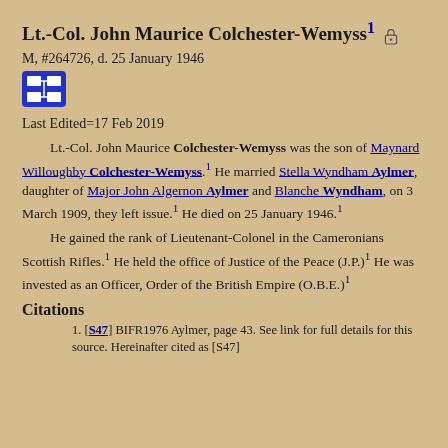Lt.-Col. John Maurice Colchester-Wemyss¹ 🔒
M, #264726, d. 25 January 1946
Last Edited=17 Feb 2019
Lt.-Col. John Maurice Colchester-Wemyss was the son of Maynard Willoughby Colchester-Wemyss.¹ He married Stella Wyndham Aylmer, daughter of Major John Algernon Aylmer and Blanche Wyndham, on 3 March 1909, they left issue.¹ He died on 25 January 1946.¹ He gained the rank of Lieutenant-Colonel in the Cameronians Scottish Rifles.¹ He held the office of Justice of the Peace (J.P.)¹ He was invested as an Officer, Order of the British Empire (O.B.E.)¹
Citations
1. [S47] BIFR1976 Aylmer, page 43. See link for full details for this source. Hereinafter cited as [S47]